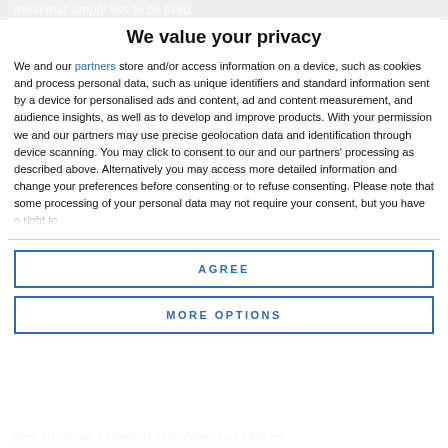trend that simply has to be fixed.
We value your privacy
We and our partners store and/or access information on a device, such as cookies and process personal data, such as unique identifiers and standard information sent by a device for personalised ads and content, ad and content measurement, and audience insights, as well as to develop and improve products. With your permission we and our partners may use precise geolocation data and identification through device scanning. You may click to consent to our and our partners' processing as described above. Alternatively you may access more detailed information and change your preferences before consenting or to refuse consenting. Please note that some processing of your personal data may not require your consent, but you have a right to
AGREE
MORE OPTIONS
they so chose, to defend high. Almost as high as